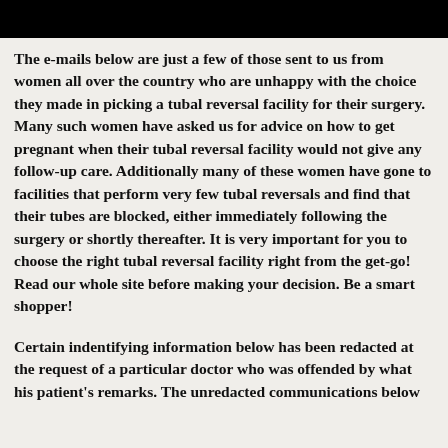The e-mails below are just a few of those sent to us from women all over the country who are unhappy with the choice they made in picking a tubal reversal facility for their surgery. Many such women have asked us for advice on how to get pregnant when their tubal reversal facility would not give any follow-up care. Additionally many of these women have gone to facilities that perform very few tubal reversals and find that their tubes are blocked, either immediately following the surgery or shortly thereafter. It is very important for you to choose the right tubal reversal facility right from the get-go! Read our whole site before making your decision. Be a smart shopper!
Certain indentifying information below has been redacted at the request of a particular doctor who was offended by what his patient’s remarks. The unredacted communications below